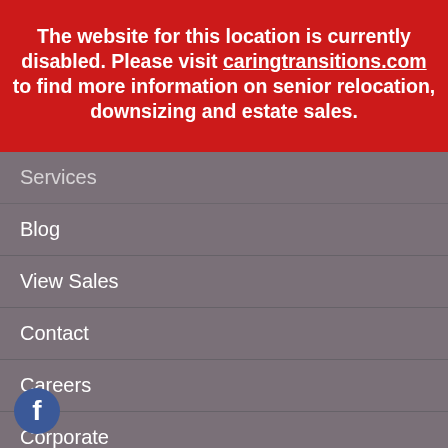The website for this location is currently disabled. Please visit caringtransitions.com to find more information on senior relocation, downsizing and estate sales.
Services
Blog
View Sales
Contact
Careers
Corporate
Accessibility
Privacy Policy
[Figure (logo): Facebook social media icon — blue circle with white 'f' logo]